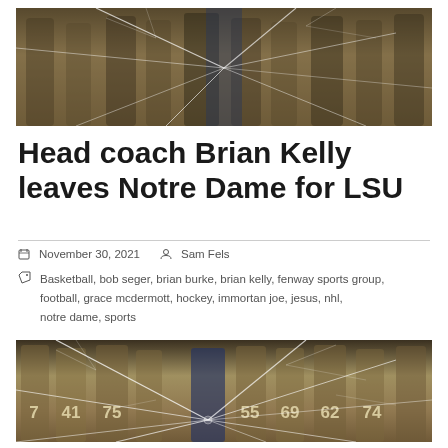[Figure (photo): Sepia-toned photo of Notre Dame football players and coach standing in a row, viewed from waist down, with cracked glass overlay effect]
Head coach Brian Kelly leaves Notre Dame for LSU
November 30, 2021   Sam Fels
Basketball, bob seger, brian burke, brian kelly, fenway sports group, football, grace mcdermott, hockey, immortan joe, jesus, nhl, notre dame, sports
[Figure (photo): Sepia-toned photo of Notre Dame football players including jersey numbers 7, 41, 75, 55, 69, 62, 74, led by coach Brian Kelly in blue jacket, with cracked glass shatter effect overlaid]